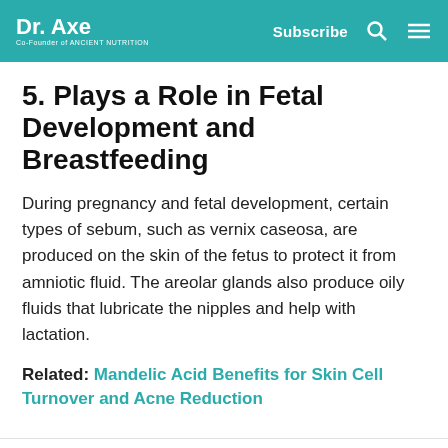Dr. Axe | Co-Founder of Ancient Nutrition | Subscribe
5. Plays a Role in Fetal Development and Breastfeeding
During pregnancy and fetal development, certain types of sebum, such as vernix caseosa, are produced on the skin of the fetus to protect it from amniotic fluid. The areolar glands also produce oily fluids that lubricate the nipples and help with lactation.
Related: Mandelic Acid Benefits for Skin Cell Turnover and Acne Reduction
[Figure (infographic): Social media share icons: Facebook (blue circle with f), Twitter (teal circle with bird), Pinterest (red circle with P), Email (gray circle with envelope)]